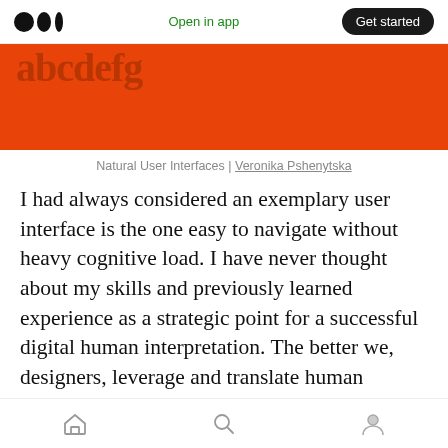Open in app | Get started
[Figure (illustration): Orange/red hero image background with partially visible large bold serif text overlay, cropped at top]
Natural User Interfaces | Veronika Pshenytska
I had always considered an exemplary user interface is the one easy to navigate without heavy cognitive load. I have never thought about my skills and previously learned experience as a strategic point for a successful digital human interpretation. The better we, designers, leverage and translate human experiences into the digital interface, the better results we reach
Home | Search | Profile